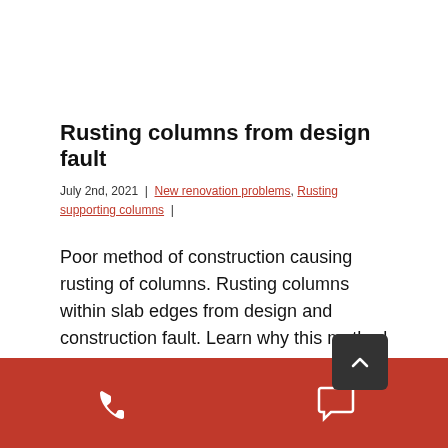Rusting columns from design fault
July 2nd, 2021 | New renovation problems, Rusting supporting columns |
Poor method of construction causing rusting of columns. Rusting columns within slab edges from design and construction fault. Learn why this method of construction should be outlawed and how to avoid. QBIS. This method of construction is impractical and must be avoided at any cost to avoid serious faults it causes. Rusting columns
[Figure (infographic): Red footer bar with phone icon on left and chat bubble icon on right, plus a dark scroll-to-top button with chevron arrow]